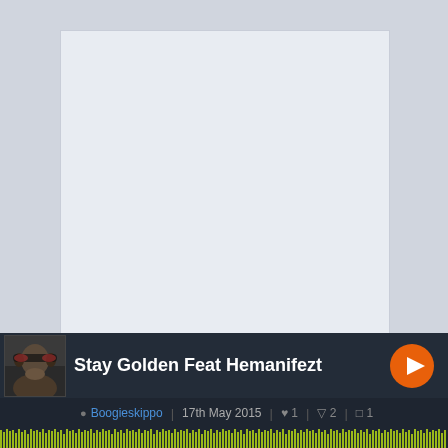[Figure (other): Blank album art placeholder area with light blue-grey background]
[Figure (screenshot): Music player bar showing track 'Stay Golden Feat Hemanifezt' by Boogieskippo, posted 17th May 2015, with 1 like, 2 dislikes, 1 comment, orange play button, avatar photo of man with sunglasses, and green waveform at bottom]